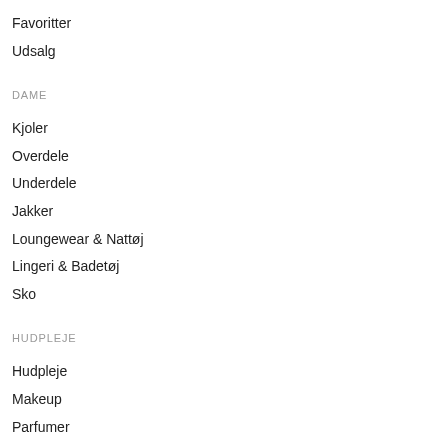Favoritter
Udsalg
DAME
Kjoler
Overdele
Underdele
Jakker
Loungewear & Nattøj
Lingeri & Badetøj
Sko
HUDPLEJE
Hudpleje
Makeup
Parfumer